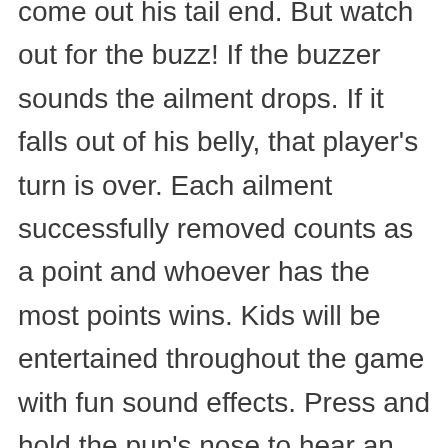come out his tail end. But watch out for the buzz! If the buzzer sounds the ailment drops. If it falls out of his belly, that player's turn is over. Each ailment successfully removed counts as a point and whoever has the most points wins. Kids will be entertained throughout the game with fun sound effects. Press and hold the pup's nose to hear an instant bark and fart sounds. The Operation Pet Scan game is a great choice for a birthday gift or a fun holiday gift for kids ages 6 and up.